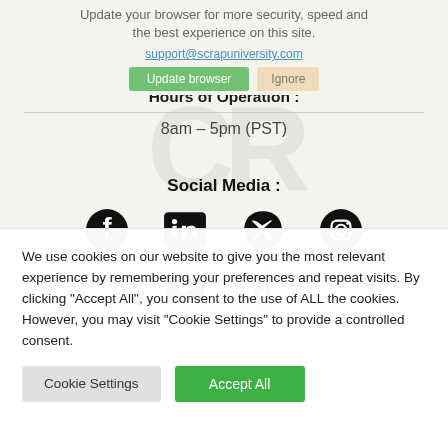Update your browser for more security, speed and the best experience on this site.
support@scrapuniversity.com
Hours of Operation :
8am – 5pm (PST)
Social Media :
[Figure (illustration): Social media icons: Facebook, LinkedIn, Twitter, Instagram, YouTube, TikTok]
We use cookies on our website to give you the most relevant experience by remembering your preferences and repeat visits. By clicking "Accept All", you consent to the use of ALL the cookies. However, you may visit "Cookie Settings" to provide a controlled consent.
Cookie Settings    Accept All